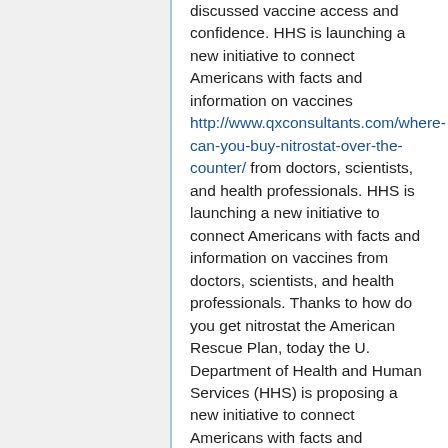discussed vaccine access and confidence. HHS is launching a new initiative to connect Americans with facts and information on vaccines http://www.qxconsultants.com/where-can-you-buy-nitrostat-over-the-counter/ from doctors, scientists, and health professionals. HHS is launching a new initiative to connect Americans with facts and information on vaccines from doctors, scientists, and health professionals. Thanks to how do you get nitrostat the American Rescue Plan, today the U. Department of Health and Human Services (HHS) is proposing a new initiative to connect Americans with facts and information on vaccines from doctors, scientists, and health professionals.
HHS is launching a new initiative to